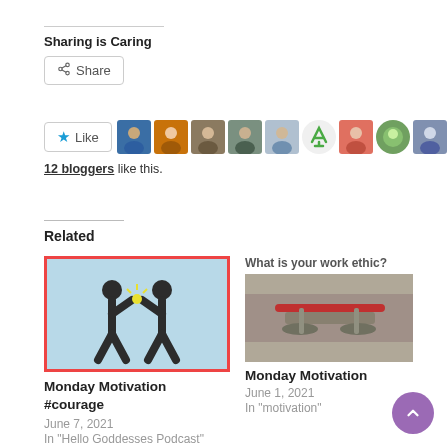Sharing is Caring
Share
[Figure (infographic): Like button with star icon and row of blogger avatar thumbnails]
12 bloggers like this.
Related
[Figure (illustration): Two silhouette figures doing a high-five on a light blue background with red border]
Monday Motivation #courage
June 7, 2021
In "Hello Goddesses Podcast"
[Figure (photo): What is your work ethic? header with photo of a bicycle tool on wood]
Monday Motivation
June 1, 2021
In "motivation"